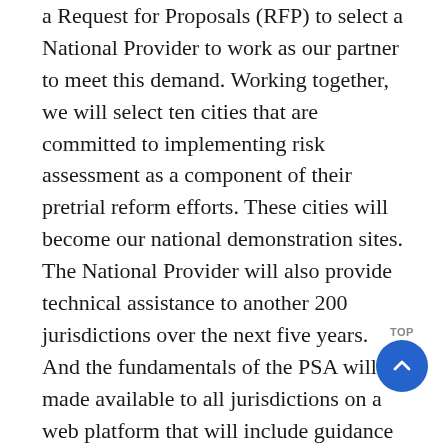a Request for Proposals (RFP) to select a National Provider to work as our partner to meet this demand. Working together, we will select ten cities that are committed to implementing risk assessment as a component of their pretrial reform efforts. These cities will become our national demonstration sites. The National Provider will also provide technical assistance to another 200 jurisdictions over the next five years. And the fundamentals of the PSA will be made available to all jurisdictions on a web platform that will include guidance on the principles of effective implementation. At the same time, reflecting our commitment to research, we released a second RFP calling for implementation research in the ten demonstration sites, research on the next generation of risk assessment, and a broader examination of the impact of pretrial detention. Through these efforts and others yet to be announced, we hope to make